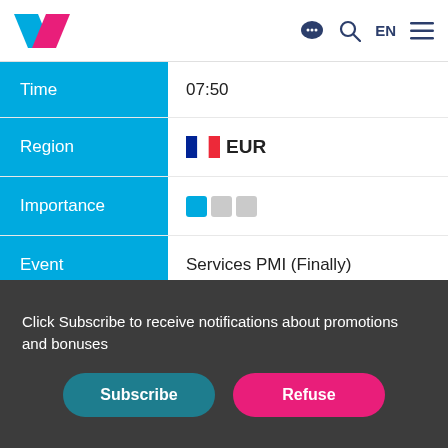TradingEconomics — EN
| Field | Value |
| --- | --- |
| Time | 07:50 |
| Region | EUR |
| Importance | low (1/3) |
| Event | Services PMI (Finally) |
| Frequency |  |
| Prev | 60.4 |
| Forecast | 58.8 |
| Actual | 58.2 |
Click Subscribe to receive notifications about promotions and bonuses